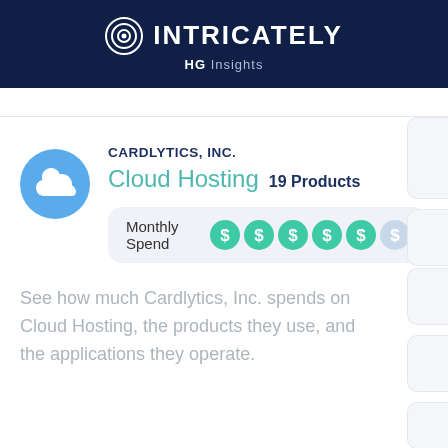INTRICATELY HG Insights
CARDLYTICS, INC.
Cloud Hosting 19 Products
Monthly Spend [5 dollar icons filled, 1 dimmed]
See how much Cardlytics, Inc. spends on Cloud Hosting, the products they use, and the applications they operate.